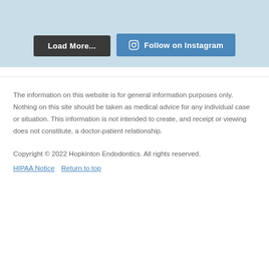[Figure (other): Light blue section with Load More and Follow on Instagram buttons]
The information on this website is for general information purposes only. Nothing on this site should be taken as medical advice for any individual case or situation. This information is not intended to create, and receipt or viewing does not constitute, a doctor-patient relationship.
Copyright © 2022 Hopkinton Endodontics. All rights reserved. HIPAA Notice  Return to top